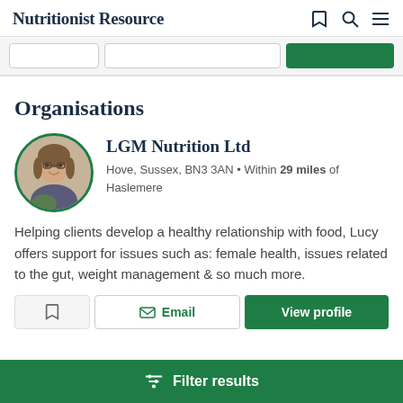Nutritionist Resource
Organisations
[Figure (photo): Profile photo of LGM Nutrition Ltd representative in a circular avatar with green border]
LGM Nutrition Ltd
Hove, Sussex, BN3 3AN • Within 29 miles of Haslemere
Helping clients develop a healthy relationship with food, Lucy offers support for issues such as: female health, issues related to the gut, weight management & so much more.
Filter results